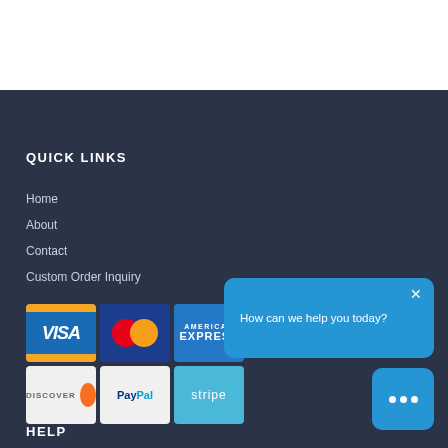QUICK LINKS
Home
About
Contact
Custom Order Inquiry
[Figure (infographic): Payment method icons: VISA, Mastercard, American Express, Discover, PayPal, Stripe arranged in a 3x2 grid]
HELP
How can we help you today?